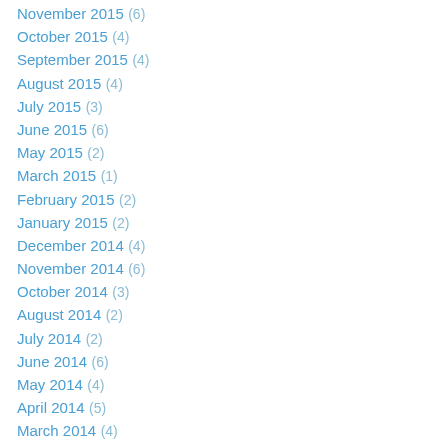November 2015 (6)
October 2015 (4)
September 2015 (4)
August 2015 (4)
July 2015 (3)
June 2015 (6)
May 2015 (2)
March 2015 (1)
February 2015 (2)
January 2015 (2)
December 2014 (4)
November 2014 (6)
October 2014 (3)
August 2014 (2)
July 2014 (2)
June 2014 (6)
May 2014 (4)
April 2014 (5)
March 2014 (4)
February 2014 (8)